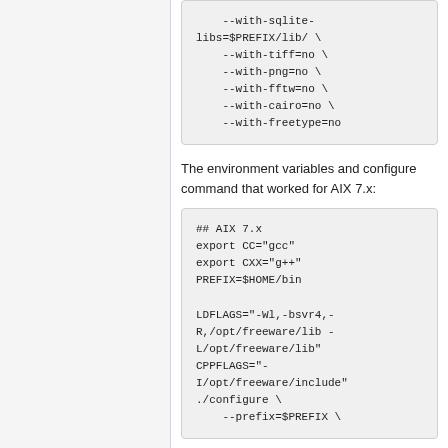--with-sqlite-libs=$PREFIX/lib/ \
    --with-tiff=no \
    --with-png=no \
    --with-fftw=no \
    --with-cairo=no \
    --with-freetype=no
The environment variables and configure command that worked for AIX 7.x:
## AIX 7.x
export CC="gcc"
export CXX="g++"
PREFIX=$HOME/bin

LDFLAGS="-Wl,-bsvr4,-R,/opt/freeware/lib -L/opt/freeware/lib"
CPPFLAGS="-I/opt/freeware/include"
./configure \
  --prefix=$PREFIX \